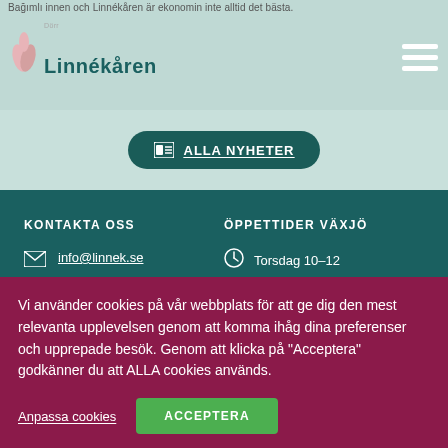Dörr / Linnékåren
Bağımlı innen och Linnékåren är ekonomin inte alltid det bästa.
ALLA NYHETER
KONTAKTA OSS
info@linnek.se
010-330 30 09 (9:00–11:30)
ÖPPETTIDER VÄXJÖ
Torsdag 10–12
ÖPPETTIDER KALMAR
Vi använder cookies på vår webbplats för att ge dig den mest relevanta upplevelsen genom att komma ihåg dina preferenser och upprepade besök. Genom att klicka på "Acceptera" godkänner du att ALLA cookies används.
Anpassa cookies
ACCEPTERA